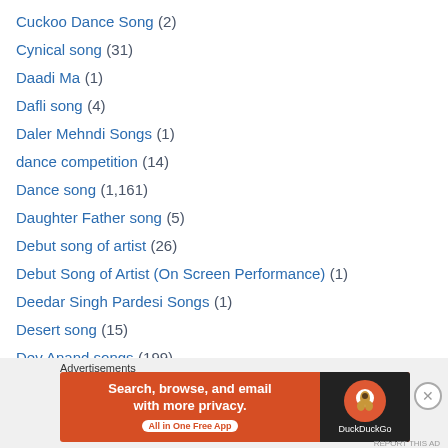Cuckoo Dance Song (2)
Cynical song (31)
Daadi Ma (1)
Dafli song (4)
Daler Mehndi Songs (1)
dance competition (14)
Dance song (1,161)
Daughter Father song (5)
Debut song of artist (26)
Debut Song of Artist (On Screen Performance) (1)
Deedar Singh Pardesi Songs (1)
Desert song (15)
Dev Anand songs (199)
Dev Anand present without lip syncing (47)
Dev Anand song by Bappi Lahiri (1)
Dev Anand song by Dwijen Mukherji (1)
[Figure (infographic): DuckDuckGo advertisement banner: 'Search, browse, and email with more privacy. All in One Free App' with DuckDuckGo logo on dark background]